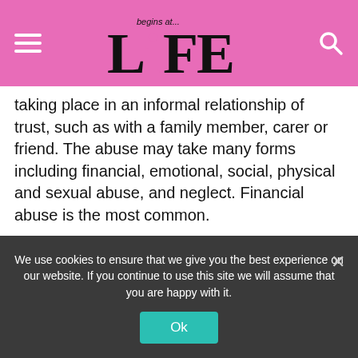begins at... LiFE
taking place in an informal relationship of trust, such as with a family member, carer or friend.  The abuse may take many forms including financial, emotional, social, physical and sexual abuse, and neglect.  Financial abuse is the most common.
Speaking at the National Elder Abuse Conference in Perth, Seniors and Volunteering Minister Tony Simpson said older people who had few friends, family or contact with the community were most at risk.
We use cookies to ensure that we give you the best experience on our website. If you continue to use this site we will assume that you are happy with it.